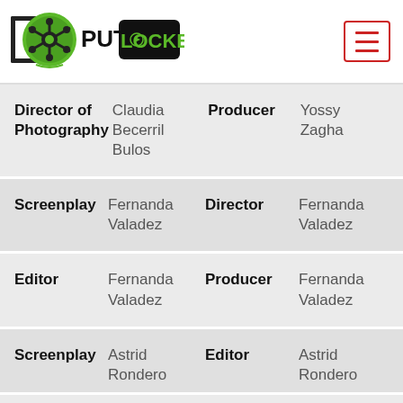[Figure (logo): PutLocker logo with film reel icon and text PUT LOCKER on dark background]
| Role | Name | Role | Name |
| --- | --- | --- | --- |
| Director of Photography | Claudia Becerril Bulos | Producer | Yossy Zagha |
| Screenplay | Fernanda Valadez | Director | Fernanda Valadez |
| Editor | Fernanda Valadez | Producer | Fernanda Valadez |
| Screenplay | Astrid Rondero | Editor | Astrid Rondero |